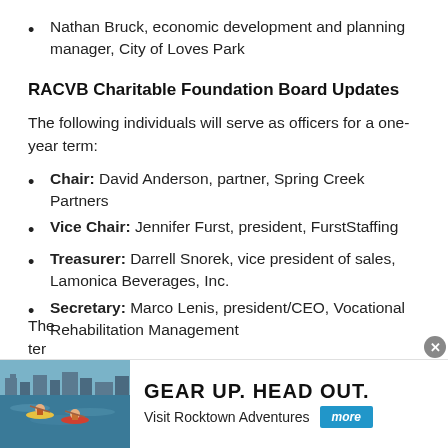Nathan Bruck, economic development and planning manager, City of Loves Park
RACVB Charitable Foundation Board Updates
The following individuals will serve as officers for a one-year term:
Chair: David Anderson, partner, Spring Creek Partners
Vice Chair: Jennifer Furst, president, FurstStaffing
Treasurer: Darrell Snorek, vice president of sales, Lamonica Beverages, Inc.
Secretary: Marco Lenis, president/CEO, Vocational Rehabilitation Management
The [partial] ter[m]
[Figure (photo): Advertisement: Gear Up. Head Out. Visit Rocktown Adventures – photo of kayakers on water with More button]